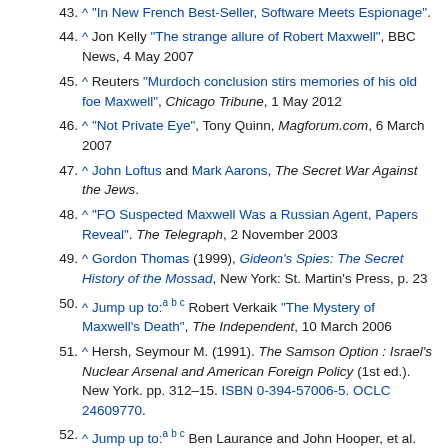43. ^ "In New French Best-Seller, Software Meets Espionage".
44. ^ Jon Kelly "The strange allure of Robert Maxwell", BBC News, 4 May 2007
45. ^ Reuters "Murdoch conclusion stirs memories of his old foe Maxwell", Chicago Tribune, 1 May 2012
46. ^ "Not Private Eye", Tony Quinn, Magforum.com, 6 March 2007
47. ^ John Loftus and Mark Aarons, The Secret War Against the Jews.
48. ^ "FO Suspected Maxwell Was a Russian Agent, Papers Reveal". The Telegraph, 2 November 2003
49. ^ Gordon Thomas (1999), Gideon's Spies: The Secret History of the Mossad, New York: St. Martin's Press, p. 23
50. ^ Jump up to: a b c Robert Verkaik "The Mystery of Maxwell's Death", The Independent, 10 March 2006
51. ^ Hersh, Seymour M. (1991). The Samson Option : Israel's Nuclear Arsenal and American Foreign Policy (1st ed.). New York. pp. 312–15. ISBN 0-394-57006-5. OCLC 24609770.
52. ^ Jump up to: a b c Ben Laurance and John Hooper, et al. "Maxwell's body found in sea", The Guardian, 6 November 1991
53. ^ "Scottish MP wins libel damages", The Herald (Glasgow), 22 December 1992
54. ^ "Robert Maxwell: A Profile". BBC News. 29 March 2001.